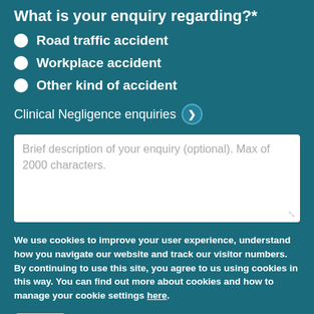What is your enquiry regarding?*
Road traffic accident
Workplace accident
Other kind of accident
Clinical Negligence enquiries ❯
Brief description of your enquiry (optional). Max of 2000 characters.
We use cookies to improve your user experience, understand how you navigate our website and track our visitor numbers. By continuing to use this site, you agree to us using cookies in this way. You can find out more about cookies and how to manage your cookie settings here.
OK